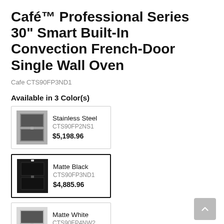Café™ Professional Series 30" Smart Built-In Convection French-Door Single Wall Oven
Cafe CTS90FP3ND1
Available in 3 Color(s)
| Image | Color | SKU | Price |
| --- | --- | --- | --- |
| [oven image] | Stainless Steel | CTS90FP2NS1 | $5,198.96 |
| [oven image] | Matte Black | CTS90FP3ND1 | $4,885.96 |
| [oven image] | Matte White | CTS90FP4NW2 | $4,885.96 |
Features
Built-In WiFi, Powered by SmartHQ App
Personalized Features + Upgrades